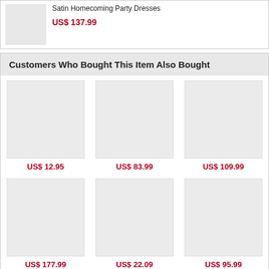Satin Homecoming Party Dresses
US$ 137.99
Customers Who Bought This Item Also Bought
[Figure (photo): Product image placeholder 1]
US$ 12.95
[Figure (photo): Product image placeholder 2]
US$ 83.99
[Figure (photo): Product image placeholder 3]
US$ 109.99
[Figure (photo): Product image placeholder 4]
US$ 177.99
[Figure (photo): Product image placeholder 5]
US$ 22.09
[Figure (photo): Product image placeholder 6]
US$ 95.99
[Figure (photo): Product image placeholder 7 (partial)]
[Figure (photo): Product image placeholder 8 (partial)]
[Figure (photo): Product image placeholder 9 (partial)]